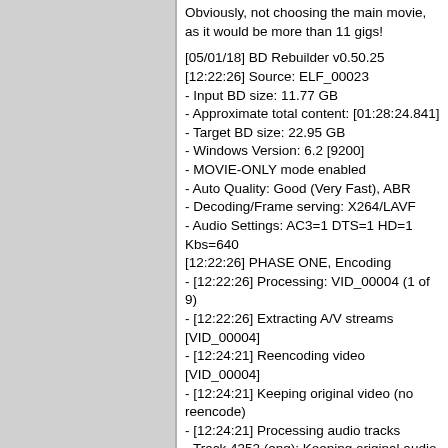Obviously, not choosing the main movie, as it would be more than 11 gigs!

[05/01/18] BD Rebuilder v0.50.25
[12:22:26] Source: ELF_00023
- Input BD size: 11.77 GB
- Approximate total content: [01:28:24.841]
- Target BD size: 22.95 GB
- Windows Version: 6.2 [9200]
- MOVIE-ONLY mode enabled
- Auto Quality: Good (Very Fast), ABR
- Decoding/Frame serving: X264/LAVF
- Audio Settings: AC3=1 DTS=1 HD=1 Kbs=640
[12:22:26] PHASE ONE, Encoding
- [12:22:26] Processing: VID_00004 (1 of 9)
- [12:22:26] Extracting A/V streams [VID_00004]
- [12:24:21] Reencoding video [VID_00004]
- [12:24:21] Keeping original video (no reencode)
- [12:24:21] Processing audio tracks
- Track 4352 (eng): Keeping original audio
- [12:24:21] Processing: VID_00006 (2 of 9)